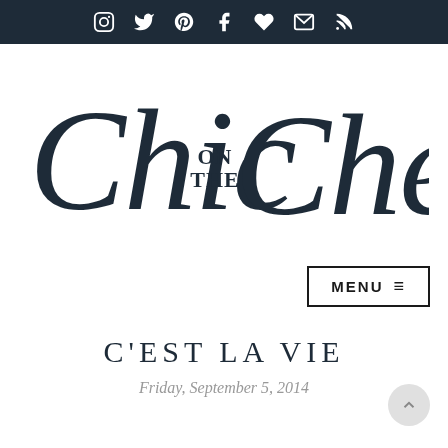Social media icons: Instagram, Twitter, Pinterest, Facebook, Heart/Bloglovin, Email, RSS
[Figure (logo): Chic on the Cheap blog logo in dark navy cursive script with 'ON THE' in small serif caps between 'Chic' and 'Cheap']
MENU ☰
C'EST LA VIE
Friday, September 5, 2014